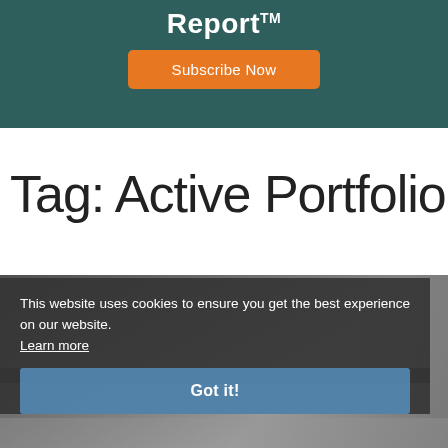[Figure (other): Dark teal banner with 'Report™' text and an orange 'Subscribe Now' button]
Tag: Active Portfolio
[Figure (photo): Runner athlete in motion on a track, partial view of legs and shoes]
This website uses cookies to ensure you get the best experience on our website. Learn more
Got it!